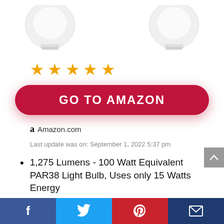[Figure (photo): Two white PAR38 light bulbs partially visible at top of page]
[Figure (other): Five orange/gold star rating icons]
GO TO AMAZON
Amazon.com
Last update was on: September 1, 2022 5:37 pm
1,275 Lumens - 100 Watt Equivalent PAR38 Light Bulb, Uses only 15 Watts Energy
Suitable for Use Both Indoor and Outdoor in all Weather
Social share buttons: Facebook, Twitter, Pinterest, Email